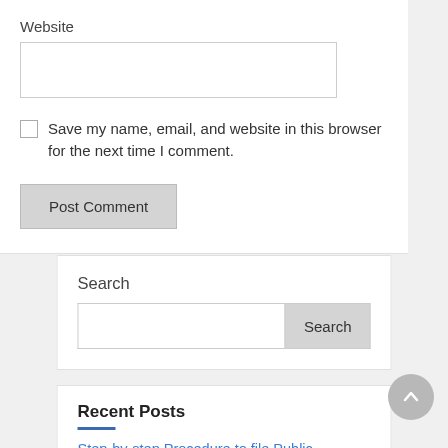Website
Save my name, email, and website in this browser for the next time I comment.
Post Comment
Search
Search
Recent Posts
Step-by-step Procedure to file Public